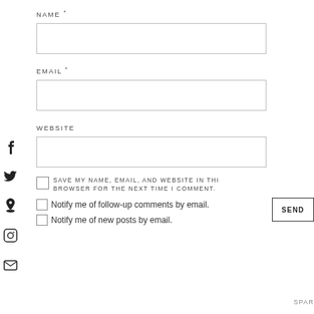NAME *
[Figure (other): Empty text input box for NAME field]
EMAIL *
[Figure (other): Empty text input box for EMAIL field]
WEBSITE
[Figure (other): Empty text input box for WEBSITE field]
SAVE MY NAME, EMAIL, AND WEBSITE IN THIS BROWSER FOR THE NEXT TIME I COMMENT.
Notify me of follow-up comments by email.
Notify me of new posts by email.
SEND
SPAR